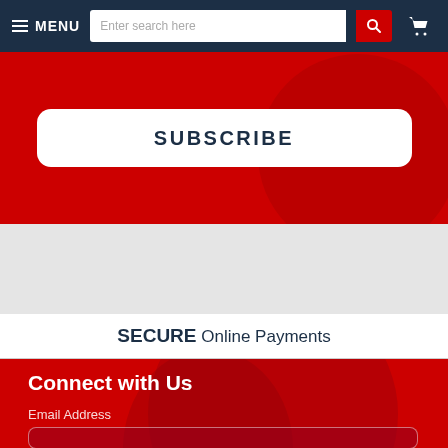MENU | Enter search here
SUBSCRIBE
SECURE Online Payments
Connect with Us
Email Address